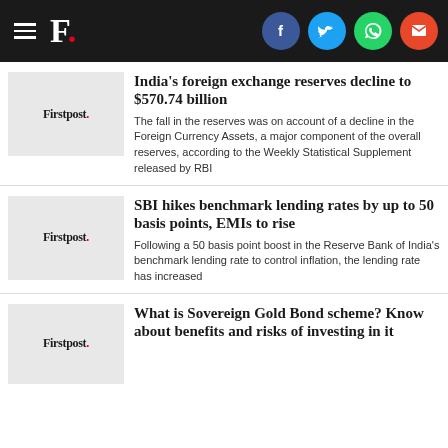Firstpost. | Social share icons
India's foreign exchange reserves decline to $570.74 billion
The fall in the reserves was on account of a decline in the Foreign Currency Assets, a major component of the overall reserves, according to the Weekly Statistical Supplement released by RBI
SBI hikes benchmark lending rates by up to 50 basis points, EMIs to rise
Following a 50 basis point boost in the Reserve Bank of India's benchmark lending rate to control inflation, the lending rate has increased
What is Sovereign Gold Bond scheme? Know about benefits and risks of investing in it